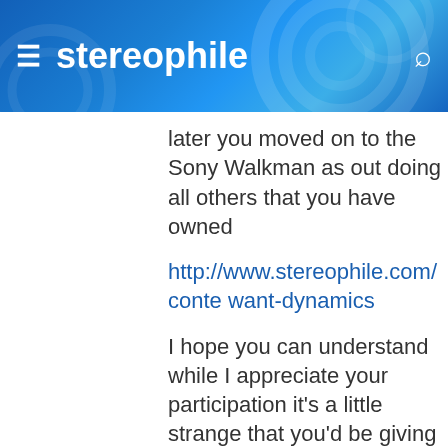stereophile
later you moved on to the Sony Walkman as out doing all others that you have owned
http://www.stereophile.com/conte want-dynamics
I hope you can understand while I appreciate your participation it's a little strange that you'd be giving advice on things that have been failures for you as if others should follow suit. It sounds like your saving move away from your